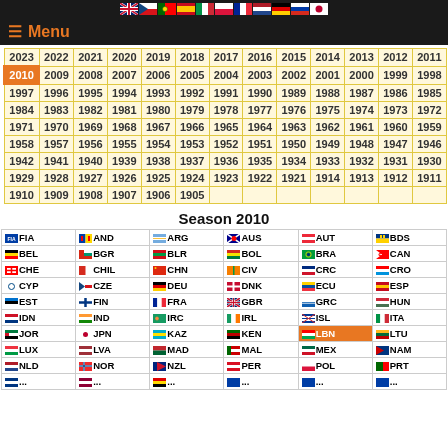Language flags navigation bar
≡ Menu
| 2023 | 2022 | 2021 | 2020 | 2019 | 2018 | 2017 | 2016 | 2015 | 2014 | 2013 | 2012 | 2011 |
| 2010 | 2009 | 2008 | 2007 | 2006 | 2005 | 2004 | 2003 | 2002 | 2001 | 2000 | 1999 | 1998 |
| 1997 | 1996 | 1995 | 1994 | 1993 | 1992 | 1991 | 1990 | 1989 | 1988 | 1987 | 1986 | 1985 |
| 1984 | 1983 | 1982 | 1981 | 1980 | 1979 | 1978 | 1977 | 1976 | 1975 | 1974 | 1973 | 1972 |
| 1971 | 1970 | 1969 | 1968 | 1967 | 1966 | 1965 | 1964 | 1963 | 1962 | 1961 | 1960 | 1959 |
| 1958 | 1957 | 1956 | 1955 | 1954 | 1953 | 1952 | 1951 | 1950 | 1949 | 1948 | 1947 | 1946 |
| 1942 | 1941 | 1940 | 1939 | 1938 | 1937 | 1936 | 1935 | 1934 | 1933 | 1932 | 1931 | 1930 |
| 1929 | 1928 | 1927 | 1926 | 1925 | 1924 | 1923 | 1922 | 1921 | 1914 | 1913 | 1912 | 1911 |
| 1910 | 1909 | 1908 | 1907 | 1906 | 1905 |  |  |  |  |  |  |  |
Season 2010
| FIA FIA | AND AND | ARG ARG | AUS AUS | AUT AUT | BDS BDS |
| BEL BEL | BGR BGR | BLR BLR | BOL BOL | BRA BRA | CAN CAN |
| CHE CHE | CHIL CHIL | CHN CHN | CIV CIV | CRC CRC | CRO CRO |
| CYP CYP | CZE CZE | DEU DEU | DNK DNK | ECU ECU | ESP ESP |
| EST EST | FIN FIN | FRA FRA | GBR GBR | GRC GRC | HUN HUN |
| IDN IDN | IND IND | IRC IRC | IRL IRL | ISL ISL | ITA ITA |
| JOR JOR | JPN JPN | KAZ KAZ | KEN KEN | LBN LBN | LTU LTU |
| LUX LUX | LVA LVA | MAD MAD | MAL MAL | MEX MEX | NAM NAM |
| NLD NLD | NOR NOR | NZL NZL | PER PER | POL POL | PRT PRT |
| ... | ... | ... | ... | ... | ... |